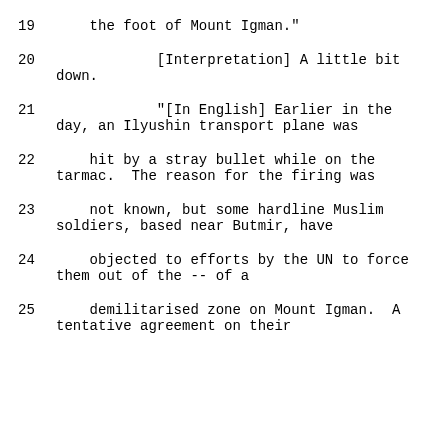19    the foot of Mount Igman."
20            [Interpretation] A little bit down.
21            "[In English] Earlier in the day, an Ilyushin transport plane was
22    hit by a stray bullet while on the tarmac.  The reason for the firing was
23    not known, but some hardline Muslim soldiers, based near Butmir, have
24    objected to efforts by the UN to force them out of the -- of a
25    demilitarised zone on Mount Igman.  A tentative agreement on their